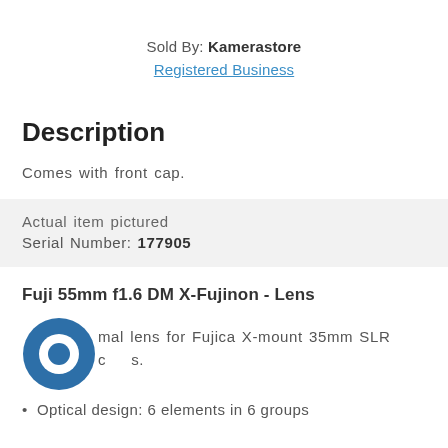Sold By: Kamerastore
Registered Business
Description
Comes with front cap.
Actual item pictured
Serial Number: 177905
Fuji 55mm f1.6 DM X-Fujinon - Lens
normal lens for Fujica X-mount 35mm SLR cameras.
Optical design: 6 elements in 6 groups